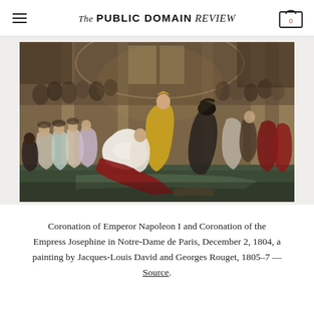The PUBLIC DOMAIN REVIEW
[Figure (photo): Painting depicting the Coronation of Emperor Napoleon I and Coronation of the Empress Josephine in Notre-Dame de Paris, December 2, 1804, by Jacques-Louis David and Georges Rouget, 1805–7. A large ceremonial scene with many figures in a grand cathedral interior.]
Coronation of Emperor Napoleon I and Coronation of the Empress Josephine in Notre-Dame de Paris, December 2, 1804, a painting by Jacques-Louis David and Georges Rouget, 1805–7 — Source.